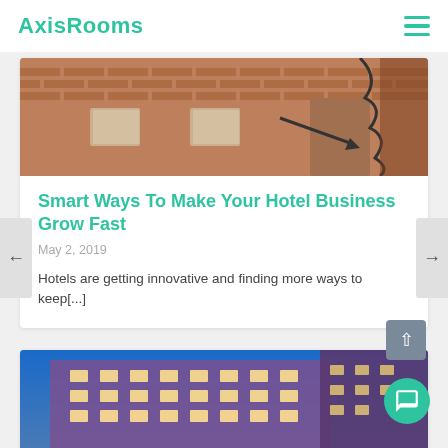AxisRooms
[Figure (photo): Brick building exterior with decorative ironwork and an arrow sign]
Smart Ways To Make Your Hotel Business Grow Fast
May 2, 2019
Hotels are getting innovative and finding more ways to keep[...]
[Figure (photo): Night view of a grand illuminated hotel building against a blue sky]